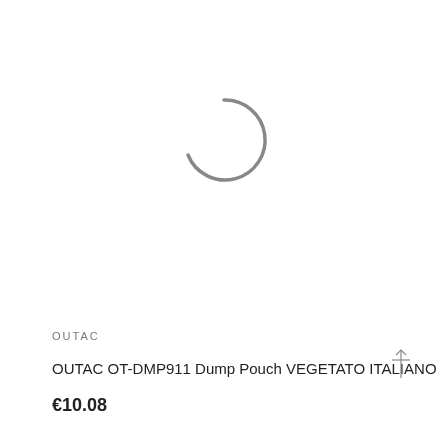[Figure (illustration): A loading spinner icon (partial circle arc) in gray, indicating a loading state where a product image would appear.]
OUTAC
OUTAC OT-DMP911 Dump Pouch VEGETATO ITALIANO
€10.08